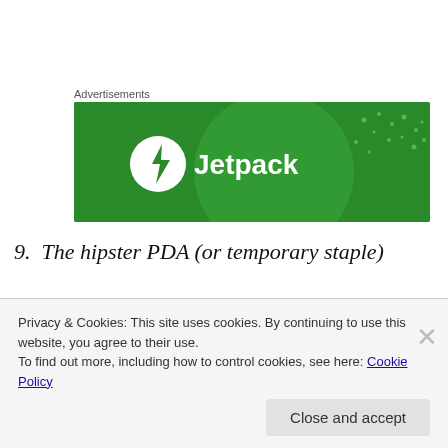Advertisements
[Figure (logo): Jetpack advertisement banner — green background with Jetpack logo (lightning bolt in circle) and text 'Jetpack']
9. The hipster PDA (or temporary staple)
Okay, this one has been covered ad infinitum elsewhere and I'll not go into what a Hipster PDA is in any depth (its basically a quick and dirty GTD solution; you can get the
Privacy & Cookies: This site uses cookies. By continuing to use this website, you agree to their use.
To find out more, including how to control cookies, see here: Cookie Policy
Close and accept